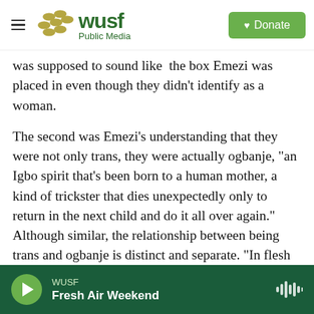WUSF Public Media | Donate
was supposed to sound like the box Emezi was placed in even though they didn't identify as a woman.
The second was Emezi's understanding that they were not only trans, they were actually ogbanje, "an Igbo spirit that's been born to a human mother, a kind of trickster that dies unexpectedly only to return in the next child and do it all over again." Although similar, the relationship between being trans and ogbanje is distinct and separate. "In flesh terms being trans means being any gender different from the one assigned to you at birth,"
WUSF | Fresh Air Weekend